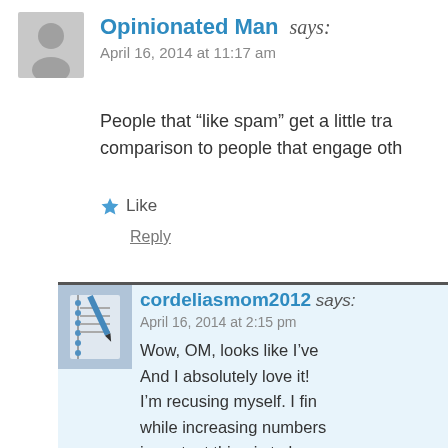[Figure (photo): Gray silhouette avatar placeholder for user Opinionated Man]
Opinionated Man says:
April 16, 2014 at 11:17 am
People that “like spam” get a little tra... comparison to people that engage oth...
Like
Reply
[Figure (photo): Profile photo for cordeliasmom2012 showing what appears to be a spiral notebook]
cordeliasmom2012 says:
April 16, 2014 at 2:15 pm
Wow, OM, looks like I’ve... And I absolutely love it! ... I’m recusing myself. I fin... while increasing numbers... important thing is to have... some very special ones! (...